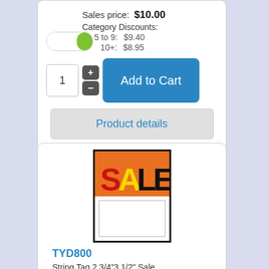Sales price: $10.00
Category Discounts:
5 to 9: $9.40
10+: $8.95
Add to Cart
Product details
[Figure (illustration): SALE tag image with orange/red SALE text on black background and white price area below]
TYD800
String Tag 2 3/4"3 1/2" Sale